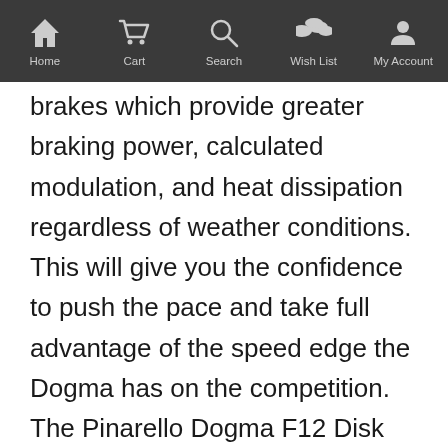Home | Cart | Search | Wish List | My Account
brakes which provide greater braking power, calculated modulation, and heat dissipation regardless of weather conditions. This will give you the confidence to push the pace and take full advantage of the speed edge the Dogma has on the competition. The Pinarello Dogma F12 Disk Frameset gives you nothing short of elite performance on the road.